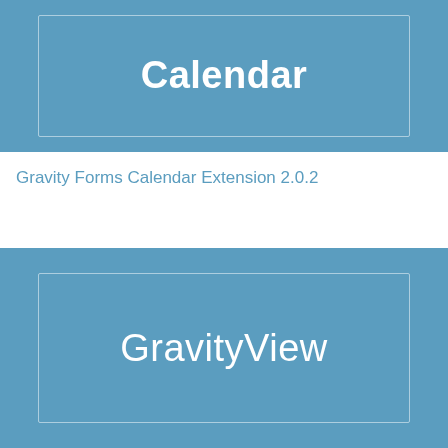[Figure (screenshot): Blue card with white bold text 'Calendar' centered inside a bordered inner box, top portion of a plugin card for Gravity Forms Calendar Extension]
Gravity Forms Calendar Extension 2.0.2
[Figure (screenshot): Blue card with white light-weight text 'GravityView' centered inside a bordered inner box, a plugin card for GravityView]